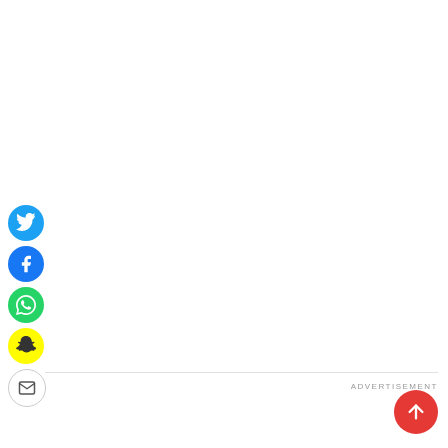[Figure (infographic): Vertical stack of social media share buttons: Twitter (blue circle with bird icon), Facebook (blue circle with f icon), WhatsApp (green circle with phone icon), Snapchat (yellow circle with ghost icon), Email (white circle with envelope icon). Below is a horizontal divider line.]
ADVERTISEMENT
[Figure (infographic): Red circular scroll-to-top button with white upward arrow, positioned bottom-right.]